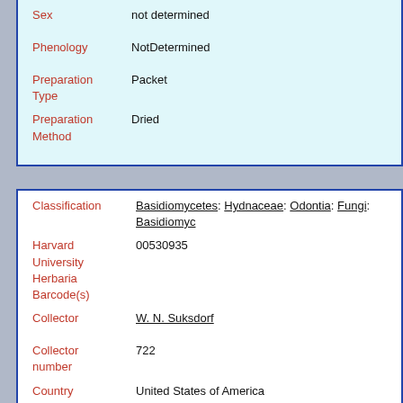| Sex | not determined |
| Phenology | NotDetermined |
| Preparation Type | Packet |
| Preparation Method | Dried |
| Classification | Basidiomycetes: Hydnaceae: Odontia: Fungi: Basidiomyc... |
| Harvard University Herbaria Barcode(s) | 00530935 |
| Collector | W. N. Suksdorf |
| Collector number | 722 |
| Country | United States of America |
| State | Washington |
| Geography | North America: North America (CA, US, MX) (Region): United States of America: Washington: Klickitat County: Bingen |
| Locality | [data not captured] |